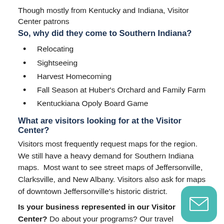Though mostly from Kentucky and Indiana, Visitor Center patrons
So, why did they come to Southern Indiana?
Relocating
Sightseeing
Harvest Homecoming
Fall Season at Huber's Orchard and Family Farm
Kentuckiana Opoly Board Game
What are visitors looking for at the Visitor Center?
Visitors most frequently request maps for the region. We still have a heavy demand for Southern Indiana maps.  Most want to see street maps of Jeffersonville, Clarksville, and New Albany. Visitors also ask for maps of downtown Jeffersonville's historic district.
Is your business represented in our Visitor Center? Do about your programs? Our travel counselors can direct people to